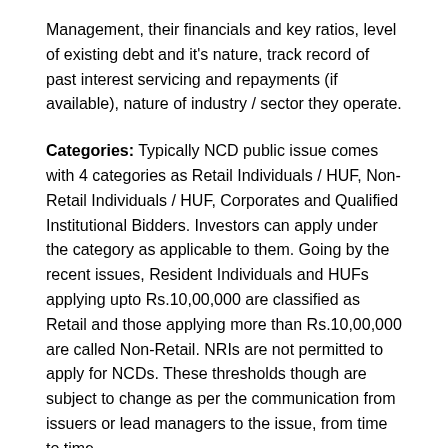Management, their financials and key ratios, level of existing debt and it's nature, track record of past interest servicing and repayments (if available), nature of industry / sector they operate.
Categories: Typically NCD public issue comes with 4 categories as Retail Individuals / HUF, Non-Retail Individuals / HUF, Corporates and Qualified Institutional Bidders. Investors can apply under the category as applicable to them. Going by the recent issues, Resident Individuals and HUFs applying upto Rs.10,00,000 are classified as Retail and those applying more than Rs.10,00,000 are called Non-Retail. NRIs are not permitted to apply for NCDs. These thresholds though are subject to change as per the communication from issuers or lead managers to the issue, from time to time.